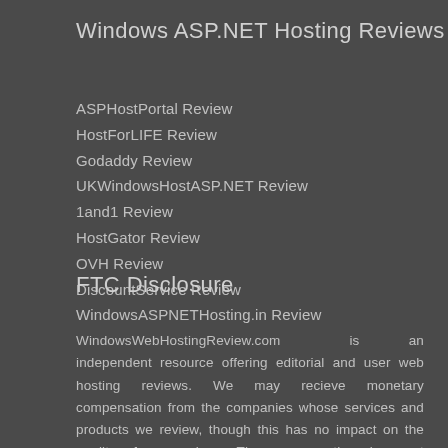Windows ASP.NET Hosting Reviews
ASPHostPortal Review
HostForLIFE Review
Godaddy Review
UKWindowsHostASP.NET Review
1and1 Review
HostGator Review
OVH Review
DiscountService Review
WindowsASP.NETHosting.in Review
FTC Disclosure
WindowsWebHostingReview.com is an independent resource offering editorial and user web hosting reviews. We may recieve monetary compensation from the companies whose services and products we review, though this has no impact on the quality of our reviews. The compensation does not influence